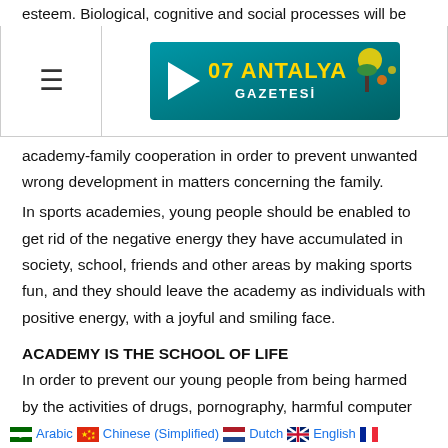esteem. Biological, cognitive and social processes will be
[Figure (screenshot): Navigation bar with hamburger menu icon on the left and '07 ANTALYA GAZETESİ' banner advertisement on the right]
academy-family cooperation in order to prevent unwanted wrong development in matters concerning the family. In sports academies, young people should be enabled to get rid of the negative energy they have accumulated in society, school, friends and other areas by making sports fun, and they should leave the academy as individuals with positive energy, with a joyful and smiling face.
ACADEMY IS THE SCHOOL OF LIFE
In order to prevent our young people from being harmed by the activities of drugs, pornography, harmful computer
[Figure (infographic): Language selection bar with flag icons: Arabic, Chinese (Simplified), Dutch, English, French, German, Italian, Portuguese, Russian, Spanish, Turkish]
be held regularly by experienced trainers before or after